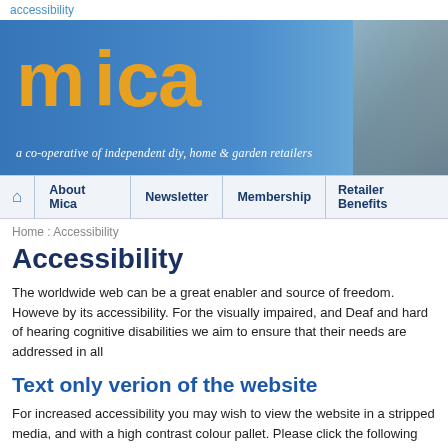accessibility
[Figure (logo): Mica logo with colorful letters and tagline 'a co-operative of independent diy, home & garden retailers' on blue gradient banner with street photo]
Home icon | About Mica | Newsletter | Membership | Retailer Benefits
Home : Accessibility
Accessibility
The worldwide web can be a great enabler and source of freedom. However, by its accessibility. For the visually impaired, and Deaf and hard of hearing p cognitive disabilities we aim to ensure that their needs are addressed in all
Text only verion of the website
For increased accessibility you may wish to view the website in a stripped c media, and with a high contrast colour pallet. Please click the following link
Enable 'text-only' mode.
Ac Cookie Policy